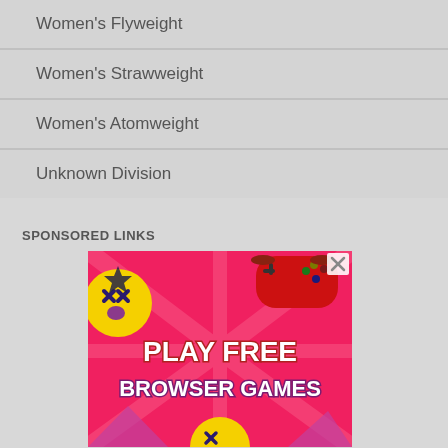Women's Flyweight
Women's Strawweight
Women's Atomweight
Unknown Division
SPONSORED LINKS
[Figure (illustration): Advertisement banner for 'Play Free Browser Games' showing colorful cartoon characters, a game controller, and bold text on a pink/red background with a close button (X) in the top right corner.]